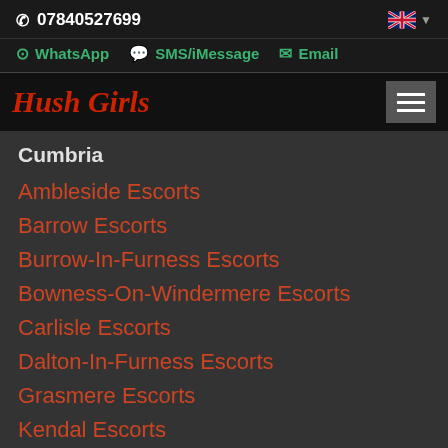07840527699
WhatsApp   SMS/iMessage   Email
Hush Girls
Cumbria
Ambleside Escorts
Barrow Escorts
Burrow-In-Furness Escorts
Bowness-On-Windermere Escorts
Carlisle Escorts
Dalton-In-Furness Escorts
Grasmere Escorts
Kendal Escorts
Keswick Escorts
Windermere Escorts